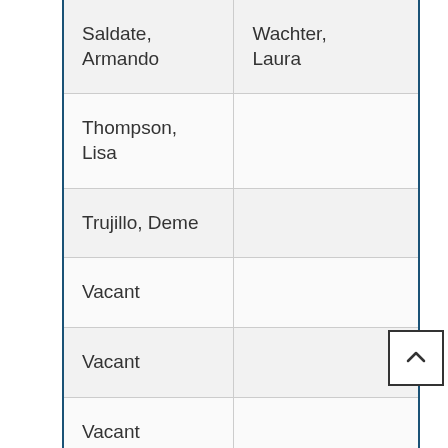| Column 1 | Column 2 |
| --- | --- |
| Saldate, Armando | Wachter, Laura |
| Thompson, Lisa |  |
| Trujillo, Deme |  |
| Vacant |  |
| Vacant |  |
| Vacant |  |
| Vacant |  |
| Vacant |  |